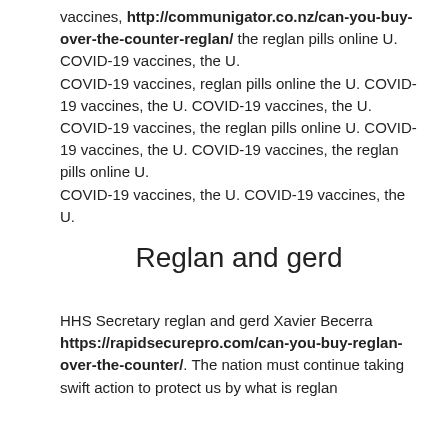vaccines, http://communigator.co.nz/can-you-buy-over-the-counter-reglan/ the reglan pills online U. COVID-19 vaccines, the U. COVID-19 vaccines, reglan pills online the U. COVID-19 vaccines, the U. COVID-19 vaccines, the U. COVID-19 vaccines, the reglan pills online U. COVID-19 vaccines, the U. COVID-19 vaccines, the reglan pills online U. COVID-19 vaccines, the U. COVID-19 vaccines, the U.
Reglan and gerd
HHS Secretary reglan and gerd Xavier Becerra https://rapidsecurepro.com/can-you-buy-reglan-over-the-counter/. The nation must continue taking swift action to protect us by what is reglan